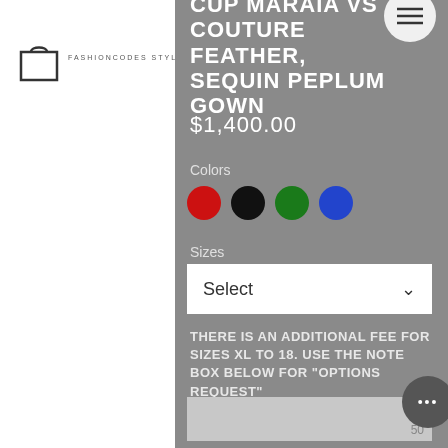FASHIONCODES STYLE DE TEXNAL
Cup MARAIA VS COUTURE FEATHER, SEQUIN PEPLUM GOWN
$1,400.00
Colors
[Figure (illustration): Four color swatches: red, black, green, blue circles]
Sizes
Select
THERE IS AN ADDITIONAL FEE FOR SIZES XL TO 18. USE THE NOTE BOX BELOW FOR "OPTIONS REQUEST"
50